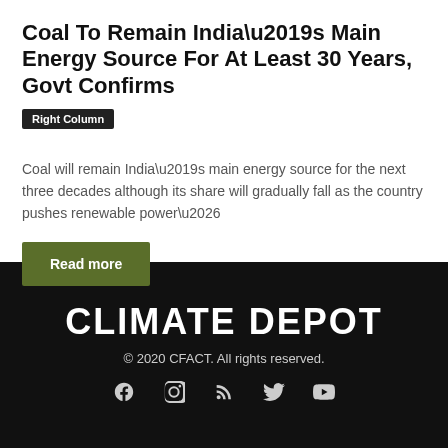Coal To Remain India’s Main Energy Source For At Least 30 Years, Govt Confirms
Right Column
Coal will remain India’s main energy source for the next three decades although its share will gradually fall as the country pushes renewable power…
Read more
CLIMATE DEPOT
© 2020 CFACT. All rights reserved.